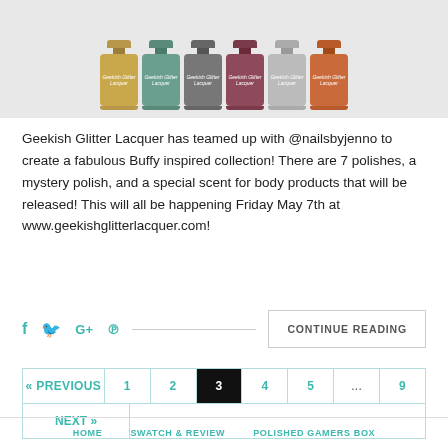[Figure (photo): Row of Geekish Glitter Lacquer nail polish bottles in various colors (gold, teal, dark gray, burgundy, silver, orange) displayed on a light gray background, photographed from the side showing the caps and labels.]
Geekish Glitter Lacquer has teamed up with @nailsbyjenno to create a fabulous Buffy inspired collection! There are 7 polishes, a mystery polish, and a special scent for body products that will be released! This will all be happening Friday May 7th at www.geekishglitterlacquer.com!
CONTINUE READING
« PREVIOUS
1
2
3
4
5
...
9
NEXT »
HOME   SWATCH & REVIEW   POLISHED GAMERS BOX